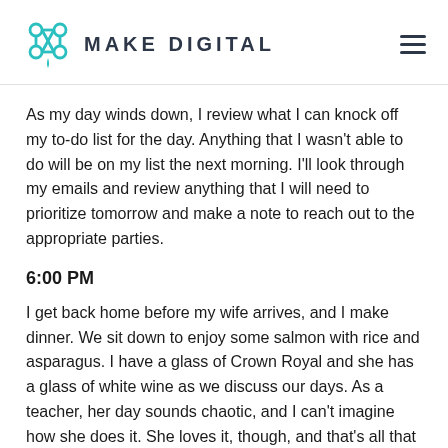MAKE DIGITAL
As my day winds down, I review what I can knock off my to-do list for the day. Anything that I wasn't able to do will be on my list the next morning. I'll look through my emails and review anything that I will need to prioritize tomorrow and make a note to reach out to the appropriate parties.
6:00 PM
I get back home before my wife arrives, and I make dinner. We sit down to enjoy some salmon with rice and asparagus. I have a glass of Crown Royal and she has a glass of white wine as we discuss our days. As a teacher, her day sounds chaotic, and I can't imagine how she does it. She loves it, though, and that's all that matters.
9:00 PM